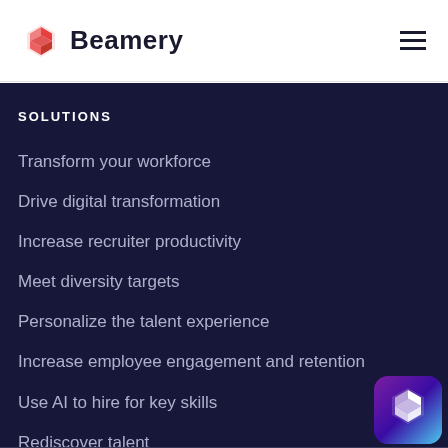Beamery
SOLUTIONS
Transform your workforce
Drive digital transformation
Increase recruiter productivity
Meet diversity targets
Personalize the talent experience
Increase employee engagement and retention
Use AI to hire for key skills
Rediscover talent
[Figure (logo): Beamery logo icon in colorful gradient background]